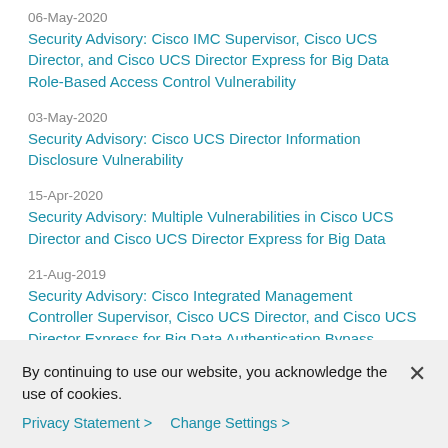06-May-2020
Security Advisory: Cisco IMC Supervisor, Cisco UCS Director, and Cisco UCS Director Express for Big Data Role-Based Access Control Vulnerability
03-May-2020
Security Advisory: Cisco UCS Director Information Disclosure Vulnerability
15-Apr-2020
Security Advisory: Multiple Vulnerabilities in Cisco UCS Director and Cisco UCS Director Express for Big Data
21-Aug-2019
Security Advisory: Cisco Integrated Management Controller Supervisor, Cisco UCS Director, and Cisco UCS Director Express for Big Data Authentication Bypass Vulnerability
21-Aug-2019
By continuing to use our website, you acknowledge the use of cookies.
Privacy Statement >   Change Settings >